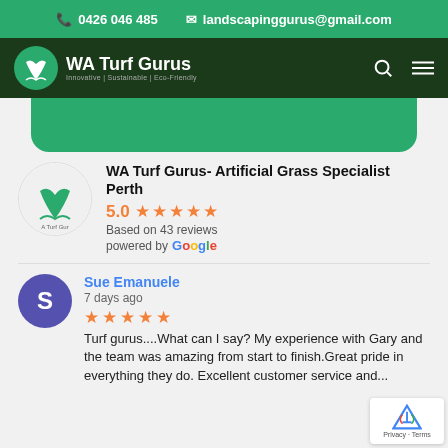0426 046 485   landscapinggurus@gmail.com
[Figure (logo): WA Turf Gurus logo with plant/grass icon and tagline Innovative | Sustainable | Eco-Friendly in dark green navigation bar]
[Figure (other): Green rounded banner below navigation]
[Figure (logo): WA Turf Gurus circular business logo]
WA Turf Gurus- Artificial Grass Specialist Perth
5.0 ★★★★★
Based on 43 reviews
powered by Google
Sue Emanuele
7 days ago
Turf gurus....What can I say? My experience with Gary and the team was amazing from start to finish.Great pride in everything they do. Excellent customer service and...